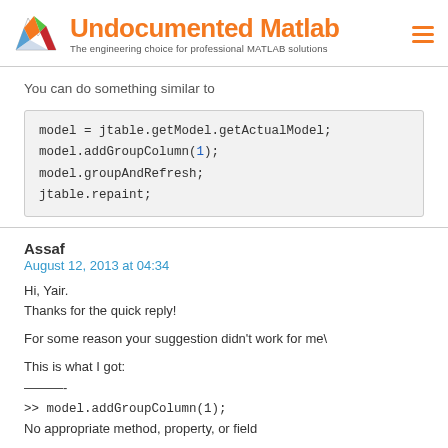Undocumented Matlab – The engineering choice for professional MATLAB solutions
You can do something similar to
[Figure (screenshot): Code block showing: model = jtable.getModel.getActualModel; model.addGroupColumn(1); model.groupAndRefresh; jtable.repaint;]
Assaf
August 12, 2013 at 04:34
Hi, Yair.
Thanks for the quick reply!

For some reason your suggestion didn't work for me\

This is what I got:
———-
>> model.addGroupColumn(1);
No appropriate method, property, or field